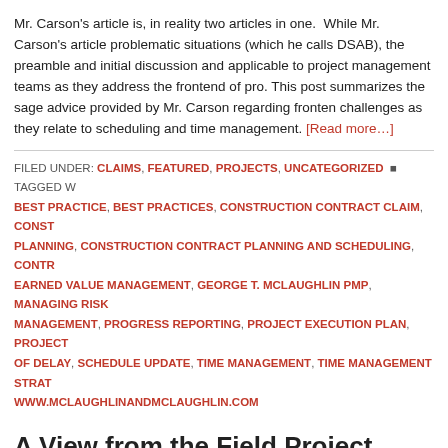Mr. Carson's article is, in reality two articles in one. While Mr. Carson's article problematic situations (which he calls DSAB), the preamble and initial discussion and applicable to project management teams as they address the frontend of pr... This post summarizes the sage advice provided by Mr. Carson regarding fronte... challenges as they relate to scheduling and time management. [Read more…]
FILED UNDER: CLAIMS, FEATURED, PROJECTS, UNCATEGORIZED • TAGGED W... BEST PRACTICE, BEST PRACTICES, CONSTRUCTION CONTRACT CLAIM, CONST... PLANNING, CONSTRUCTION CONTRACT PLANNING AND SCHEDULING, CONTR... EARNED VALUE MANAGEMENT, GEORGE T. MCLAUGHLIN PMP, MANAGING RISK... MANAGEMENT, PROGRESS REPORTING, PROJECT EXECUTION PLAN, PROJECT... OF DELAY, SCHEDULE UPDATE, TIME MANAGEMENT, TIME MANAGEMENT STRAT... WWW.MCLAUGHLINANDMCLAUGHLIN.COM
A View from the Field Project Execution / Contr... Large and Complex Industrial Projects
May 6, 2013 By George T McLaughlin PMP CCM
[Figure (photo): Headshot photo of a person against a sky background]
This article from the Division 1 of the ABA Forum Industry Newsletter "The Dispute Resolver" m... McLaughlin's "View from the Field" formed thr...